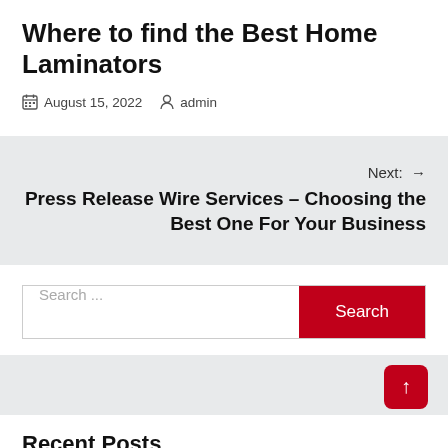Where to find the Best Home Laminators
August 15, 2022  admin
Next: → Press Release Wire Services – Choosing the Best One For Your Business
Search ...
Recent Posts